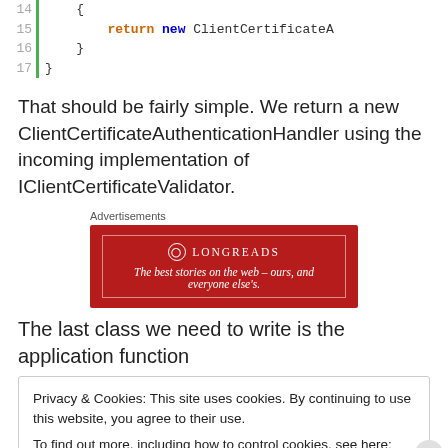[Figure (screenshot): Code block showing lines 14-17 with syntax-highlighted code. Line 15 shows 'return new ClientCertificateA' in blue/orange keywords. Lines 16 and 17 show closing braces.]
That should be fairly simple. We return a new ClientCertificateAuthenticationHandler using the incoming implementation of IClientCertificateValidator.
[Figure (other): Longreads advertisement banner. Red background with text: LONGREADS - The best stories on the web – ours, and everyone else's.]
The last class we need to write is the application function
Privacy & Cookies: This site uses cookies. By continuing to use this website, you agree to their use.
To find out more, including how to control cookies, see here: Cookie Policy